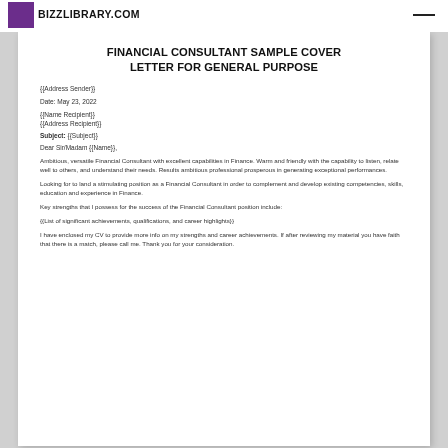BIZZLIBRARY.COM
FINANCIAL CONSULTANT SAMPLE COVER LETTER FOR GENERAL PURPOSE
{{Address Sender}}
Date: May 23, 2022
{{Name Recipient}}
{{Address Recipient}}
Subject: {{Subject}}
Dear Sir/Madam {{Name}},
Ambitious, versatile Financial Consultant with excellent capabilities in Finance. Warm and friendly with the capability to listen, relate well to others, and understand their needs. Results ambitious professional prosperous in generating exceptional performances.
Looking for to land a stimulating position as a Financial Consultant in order to complement and develop existing competencies, skills, education and experience in Finance.
Key strengths that I possess for the success of the Financial Consultant position include:
{{List of significant achievements, qualifications, and career highlights}}
I have enclosed my CV to provide more info on my strengths and career achievements. If after reviewing my material you have faith that there is a match, please call me. Thank you for your consideration.